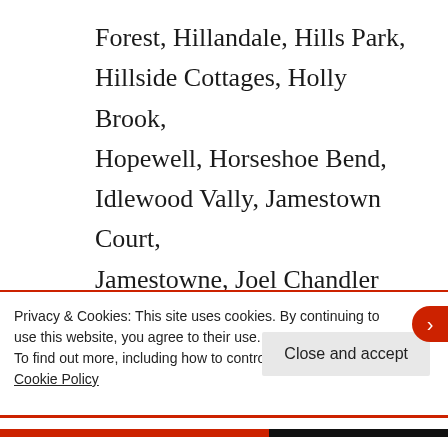Forest, Hillandale, Hills Park, Hillside Cottages, Holly Brook, Hopewell, Horseshoe Bend, Idlewood Vally, Jamestown Court, Jamestowne, Joel Chandler Harris Homes, Kimberly, Knox Landing, Lake Island Estates, Lake Union Hill, Lake Villas, Laurel Brook, Laurel Grove, Laurel Woods, Lenox Park, Lester, Limetree,
Privacy & Cookies: This site uses cookies. By continuing to use this website, you agree to their use. To find out more, including how to control cookies, see here: Cookie Policy